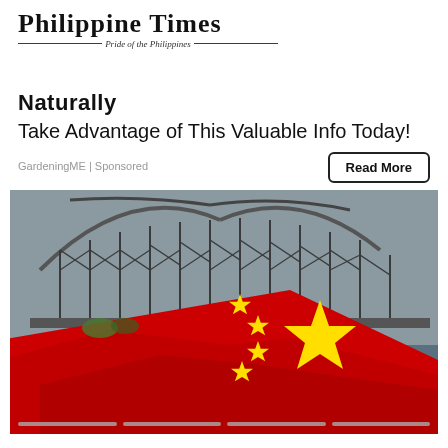[Figure (logo): Philippine Times newspaper logo with red decorative lines and italic subtitle 'Pride of the Philippines']
Naturally
Take Advantage of This Valuable Info Today!
GardeningME | Sponsored
Read More
[Figure (photo): A large steel bridge structure over water with a Chinese national flag (red with yellow stars) in the foreground, overlapping the bottom portion of the bridge photo. Progress/slideshow indicator dots at the bottom.]